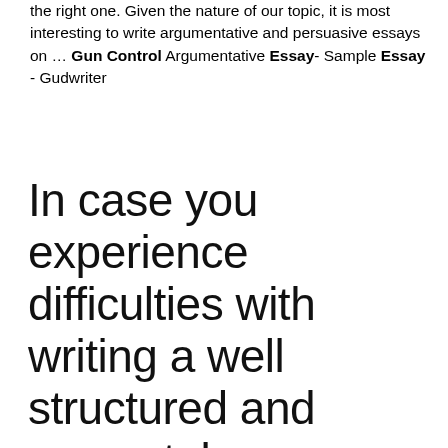the right one. Given the nature of our topic, it is most interesting to write argumentative and persuasive essays on … Gun Control Argumentative Essay- Sample Essay - Gudwriter
In case you experience difficulties with writing a well structured and accurately composed paper on Should Gun Control Laws Be Changed, we are here to assist you. Your persuasive essay on Should Gun Control Laws Be Changed will be written